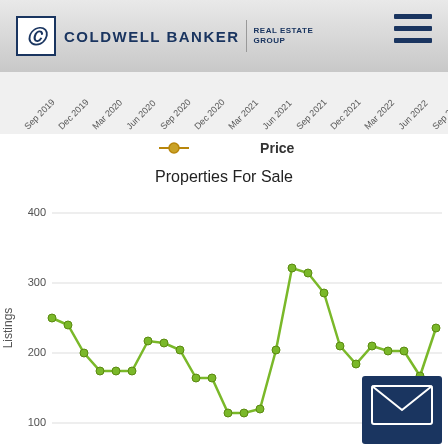[Figure (logo): Coldwell Banker Real Estate Group logo with hamburger menu icon]
[Figure (line-chart): Properties For Sale]